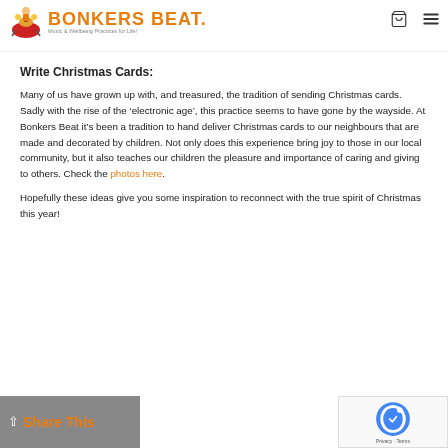Bonkers Beat — Music & Wellbeing Practices for Life!
Write Christmas Cards:
Many of us have grown up with, and treasured, the tradition of sending Christmas cards. Sadly with the rise of the ‘electronic age’, this practice seems to have gone by the wayside. At Bonkers Beat it’s been a tradition to hand deliver Christmas cards to our neighbours that are made and decorated by children. Not only does this experience bring joy to those in our local community, but it also teaches our children the pleasure and importance of caring and giving to others. Check the photos here.
Hopefully these ideas give you some inspiration to reconnect with the true spirit of Christmas this year!
Share This